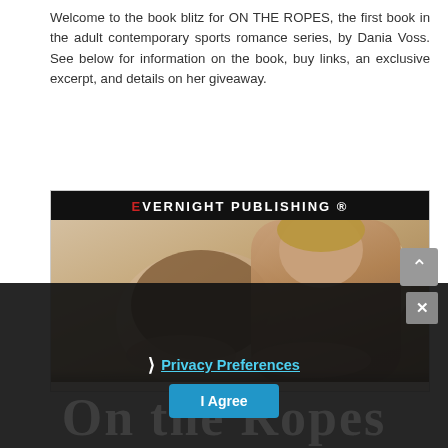Welcome to the book blitz for ON THE ROPES, the first book in the adult contemporary sports romance series, by Dania Voss. See below for information on the book, buy links, an exclusive excerpt, and details on her giveaway.
[Figure (photo): Book cover for 'On the Ropes' by Dania Voss, published by Evernight Publishing. Shows a muscular shirtless man embracing a woman with long hair. The bottom of the cover shows the book title 'On the Ropes' in large stylized text.]